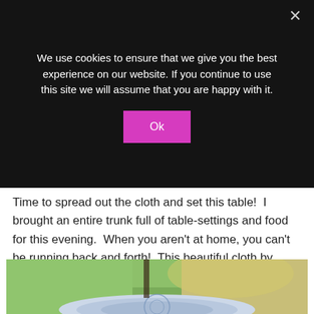We use cookies to ensure that we give you the best experience on our website. If you continue to use this site we will assume that you are happy with it.
Ok
Time to spread out the cloth and set this table!  I brought an entire trunk full of table-settings and food for this evening.  When you aren't at home, you can't be running back and forth!  This beautiful cloth by Envogue is from Amazon.  I fell in love with the bold blue and white pattern.
[Figure (photo): Outdoor photo showing a blue and white patterned cloth spread on grass in a garden or yard setting, with sunlight visible in the background.]